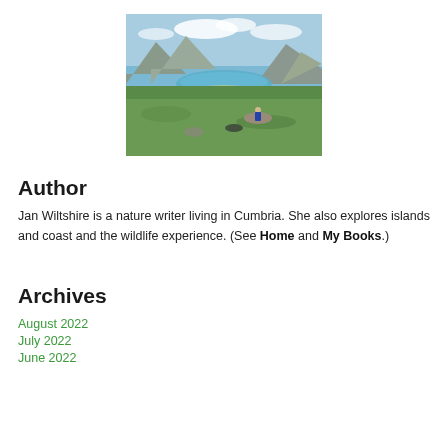[Figure (photo): Outdoor landscape photo showing a person sitting on a large rock in a green valley with a coastal inlet/loch and mountains in the background under a cloudy blue sky.]
Author
Jan Wiltshire is a nature writer living in Cumbria. She also explores islands and coast and the wildlife experience. (See Home and My Books.)
Archives
August 2022
July 2022
June 2022